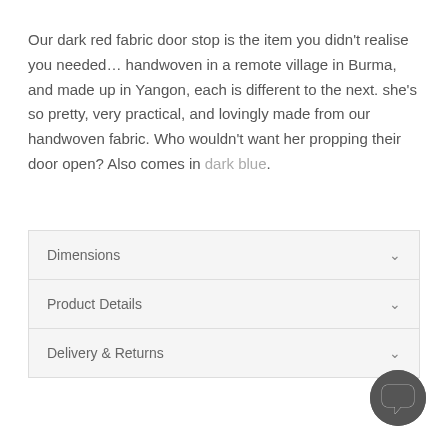Our dark red fabric door stop is the item you didn't realise you needed… handwoven in a remote village in Burma, and made up in Yangon, each is different to the next. she's so pretty, very practical, and lovingly made from our handwoven fabric. Who wouldn't want her propping their door open? Also comes in dark blue.
Dimensions
Product Details
Delivery & Returns
[Figure (other): Chat/support button icon — dark grey circle with white speech bubble shape]